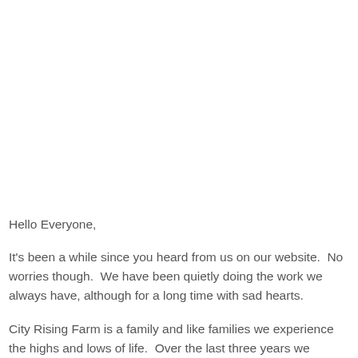Hello Everyone,
It's been a while since you heard from us on our website.  No worries though.  We have been quietly doing the work we always have, although for a long time with sad hearts.
City Rising Farm is a family and like families we experience the highs and lows of life.  Over the last three years we experienced significant